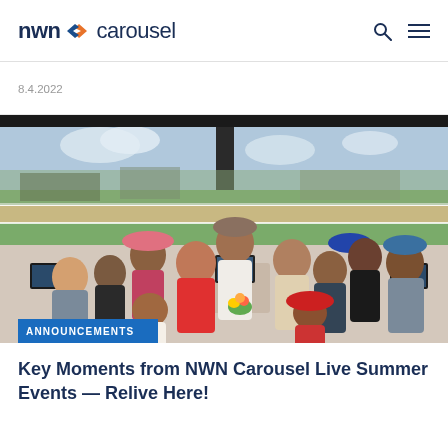nwn carousel
8.4.2022
[Figure (photo): Group photo of approximately 12 people dressed in summer/formal attire at what appears to be a horse racing venue, with a racetrack visible through large windows in the background. People are wearing colorful hats and summer outfits.]
ANNOUNCEMENTS
Key Moments from NWN Carousel Live Summer Events — Relive Here!